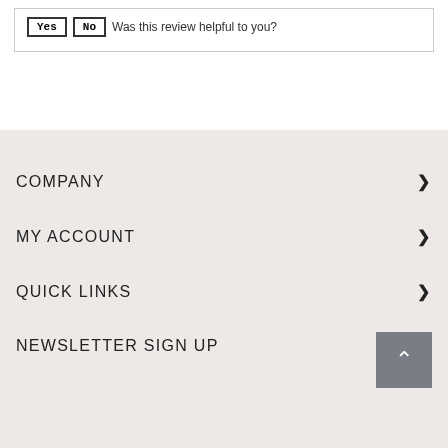Yes | No Was this review helpful to you?
COMPANY
MY ACCOUNT
QUICK LINKS
NEWSLETTER SIGN UP